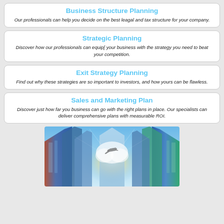Business Structure Planning
Our professionals can help you decide on the best leagal and tax structure for your company.
Strategic Planning
Discover how our professionals can equip[ your business with the strategy you need to beat your competition.
Exit Strategy Planning
Find out why these strategies are so important to investors, and how yours can be flawless.
Sales and Marketing Plan
Discover just how far you business can go with the right plans in place. Our specialists can deliver comprehensive plans with measurable ROI.
[Figure (photo): Upward view of modern glass skyscrapers converging toward a bright blue sky with clouds and sunlight, suggesting business ambition and growth]